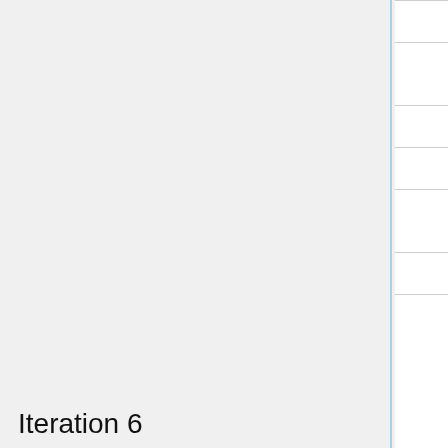| Task | Type | Assignee | Date |
| --- | --- | --- | --- |
| push similar deal | Coding | Gao Yiming | 01/0… |
| Customer to deal travel distance | Coding | Zhang Jiahang | 22/0… |
| Code Optimization | Coding | Zhang Jiahang | 01/0… |
| test case | Non-coding | Xia Xueying | 01/0… |
| Test & Debug | Non-coding | Xia Xueying, Wang Yiyi | 03/0… |
| Deploy to server | Non-coding | All team member | 04/0… |
Iteration 6